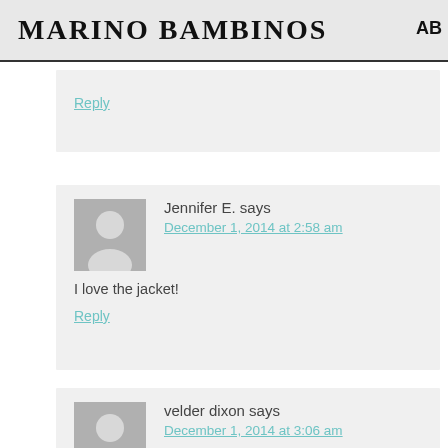MARINO BAMBINOS  AB
Reply
Jennifer E. says
December 1, 2014 at 2:58 am
I love the jacket!
Reply
velder dixon says
December 1, 2014 at 3:06 am